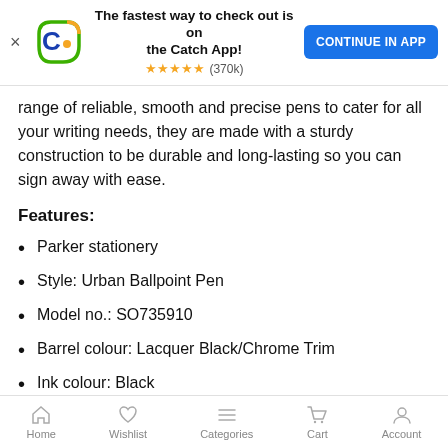[Figure (screenshot): Catch app banner with logo, headline 'The fastest way to check out is on the Catch App!', star rating (370k), and 'CONTINUE IN APP' button]
range of reliable, smooth and precise pens to cater for all your writing needs, they are made with a sturdy construction to be durable and long-lasting so you can sign away with ease.
Features:
Parker stationery
Style: Urban Ballpoint Pen
Model no.: SO735910
Barrel colour: Lacquer Black/Chrome Trim
Ink colour: Black
Nib: Medium
Provides a super smooth writing experience
Better ink flow
Optimal performance
Home   Wishlist   Categories   Cart   Account